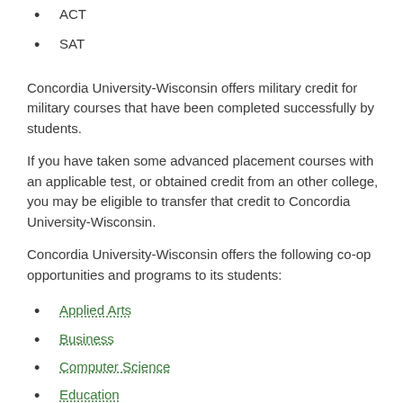ACT
SAT
Concordia University-Wisconsin offers military credit for military courses that have been completed successfully by students.
If you have taken some advanced placement courses with an applicable test, or obtained credit from an other college, you may be eligible to transfer that credit to Concordia University-Wisconsin.
Concordia University-Wisconsin offers the following co-op opportunities and programs to its students:
Applied Arts
Business
Computer Science
Education